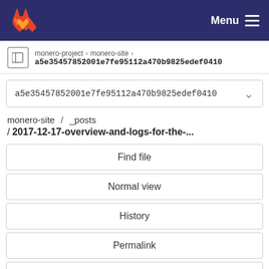GitLab — Menu
monero-project > monero-site > a5e35457852001e7fe95112a470b9825edef0410
a5e35457852001e7fe95112a470b9825edef0410
monero-site / _posts
/ 2017-12-17-overview-and-logs-for-the-...
Find file
Normal view
History
Permalink
2017-12-17-overview-and-logs-for-the-dev-meetin